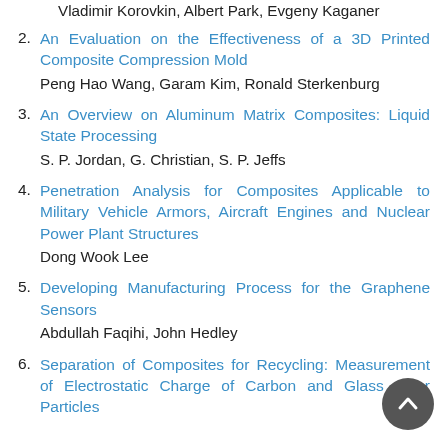Vladimir Korovkin, Albert Park, Evgeny Kaganer
2. An Evaluation on the Effectiveness of a 3D Printed Composite Compression Mold
Peng Hao Wang, Garam Kim, Ronald Sterkenburg
3. An Overview on Aluminum Matrix Composites: Liquid State Processing
S. P. Jordan, G. Christian, S. P. Jeffs
4. Penetration Analysis for Composites Applicable to Military Vehicle Armors, Aircraft Engines and Nuclear Power Plant Structures
Dong Wook Lee
5. Developing Manufacturing Process for the Graphene Sensors
Abdullah Faqihi, John Hedley
6. Separation of Composites for Recycling: Measurement of Electrostatic Charge of Carbon and Glass Fiber Particles